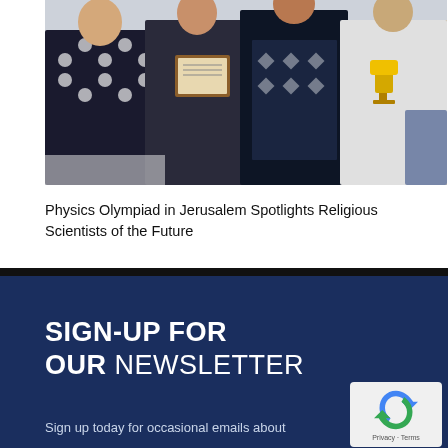[Figure (photo): Group photo of four people standing together indoors; one person is holding a framed certificate/diploma and another is holding a trophy.]
Physics Olympiad in Jerusalem Spotlights Religious Scientists of the Future
SIGN-UP FOR OUR NEWSLETTER
Sign up today for occasional emails about